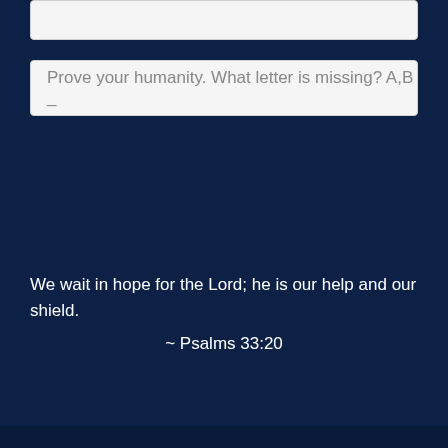Prove your humanity. What letter is missing? A,B _
We wait in hope for the Lord; he is our help and our shield.
~ Psalms 33:20